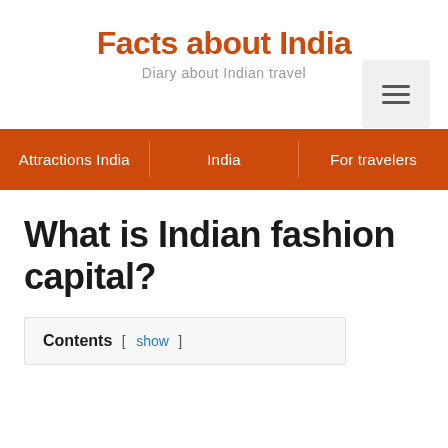Facts about India
Diary about Indian travel
Attractions India  India  For travelers
What is Indian fashion capital?
Contents [ show ]